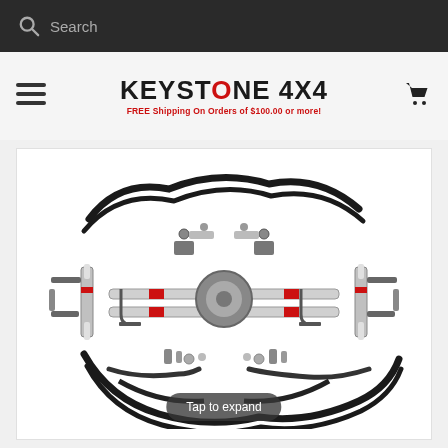Search
[Figure (logo): Keystone 4x4 logo with text FREE Shipping On Orders of $100.00 or more!]
[Figure (photo): Truck suspension lift kit components laid out in a circular arrangement showing springs, shocks, U-bolts, brackets and hardware]
Tap to expand